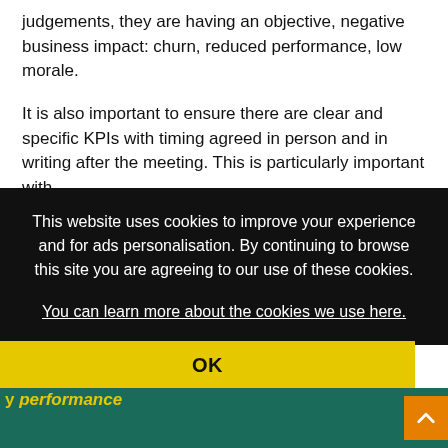judgements, they are having an objective, negative business impact: churn, reduced performance, low morale.
It is also important to ensure there are clear and specific KPIs with timing agreed in person and in writing after the meeting. This is particularly important with
[Figure (screenshot): Cookie consent banner overlay on a webpage. Dark black background with white text reading: 'This website uses cookies to improve your experience and for ads personalisation. By continuing to browse this site you are agreeing to our use of these cookies. You can learn more about the cookies we use here.' with an underlined link, and a yellow OK button at the bottom.]